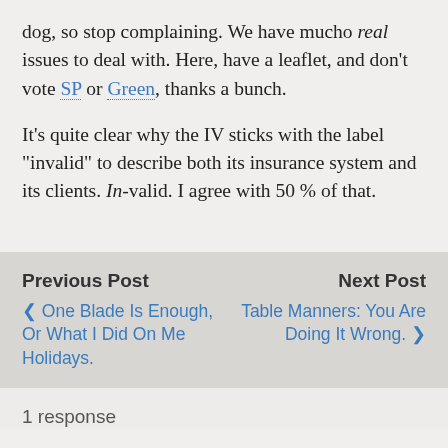dog, so stop complaining. We have mucho real issues to deal with. Here, have a leaflet, and don't vote SP or Green, thanks a bunch.
It's quite clear why the IV sticks with the label “invalid” to describe both its insurance system and its clients. In-valid. I agree with 50 % of that.
Previous Post
❮ One Blade Is Enough, Or What I Did On Me Holidays.
Next Post
Table Manners: You Are Doing It Wrong. ❯
1 response